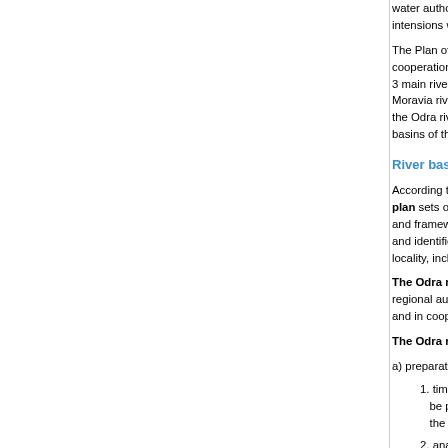water authorities and it determines possibilities of intensions within the zoning policy.
The Plan of main river basins of the Czech Republic is prepared in cooperation with the Ministry of Environment and other... 3 main river basins in the Czech Republic, being... Moravia river basin, including other river basins of... the Odra river basin district (it flows into the Baltic... basins of the Elbe, Danube and Odra.
River basin district plan
According to Section 25 of Act No. 254/2001 Sb., the river basin district plan sets out specific objectives for the Odra river basin district and framework measure programmes of the Plan of... and identified conditions of the surface and groundwater locality, including the measure programmes which...
The Odra river basin district plan is developed by the regional authorities of cooperation with the regional... and in cooperation with the central water authorities...
The Odra river basin district plan is developed in...
a) preparatory work which must contain:
1. time schedule and programme of work for the... be published and made accessible to the... the start of the period related to the river basin...
2. analyses of general and water management... the impacts of human activities on the condition... analyses of water use, and based on this...